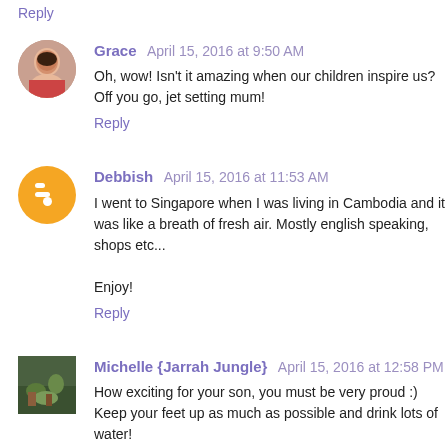Reply
Grace  April 15, 2016 at 9:50 AM
Oh, wow! Isn't it amazing when our children inspire us? Off you go, jet setting mum!
Reply
Debbish  April 15, 2016 at 11:53 AM
I went to Singapore when I was living in Cambodia and it was like a breath of fresh air. Mostly english speaking, shops etc...

Enjoy!
Reply
Michelle {Jarrah Jungle}  April 15, 2016 at 12:58 PM
How exciting for your son, you must be very proud :) Keep your feet up as much as possible and drink lots of water!